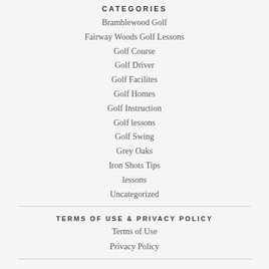CATEGORIES
Bramblewood Golf
Fairway Woods Golf Lessons
Golf Course
Golf Driver
Golf Facilites
Golf Homes
Golf Instruction
Golf lessons
Golf Swing
Grey Oaks
Iron Shots Tips
lessons
Uncategorized
TERMS OF USE & PRIVACY POLICY
Terms of Use
Privacy Policy